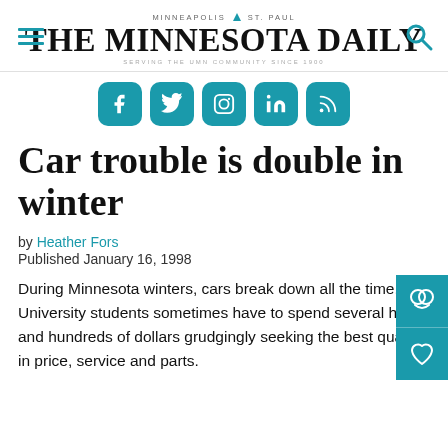MINNEAPOLIS | ST. PAUL — THE MINNESOTA DAILY — SERVING THE UMN COMMUNITY SINCE 1900
[Figure (logo): The Minnesota Daily newspaper logo with hamburger menu icon on left and search icon on right, social media icons below (Facebook, Twitter, Instagram, LinkedIn, RSS)]
Car trouble is double in winter
by Heather Fors
Published January 16, 1998
During Minnesota winters, cars break down all the time. And University students sometimes have to spend several hours and hundreds of dollars grudgingly seeking the best quality in price, service and parts.